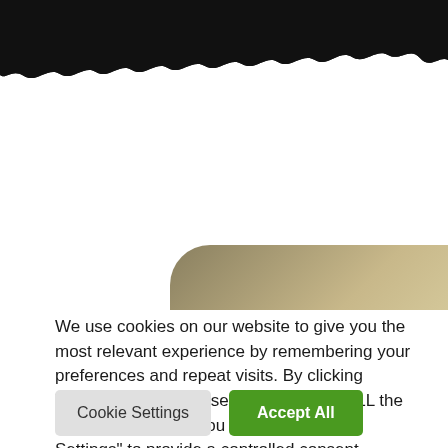[Figure (photo): Dark black jagged/torn edge at the top of the page, like a torn paper or dark background element]
[Figure (photo): A partial image strip showing what appears to be a stone or rock surface with muted tan, brown and dark tones, with rounded top corners, visible as a horizontal band]
We use cookies on our website to give you the most relevant experience by remembering your preferences and repeat visits. By clicking “Accept All”, you consent to the use of ALL the cookies. However, you may visit "Cookie Settings" to provide a controlled consent.
Cookie Settings
Accept All